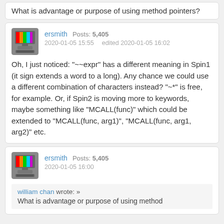What is advantage or purpose of using method pointers?
ersmith  Posts: 5,405
2020-01-05 15:55   edited 2020-01-05 16:02
Oh, I just noticed: "~~expr" has a different meaning in Spin1 (it sign extends a word to a long). Any chance we could use a different combination of characters instead? "~*" is free, for example. Or, if Spin2 is moving more to keywords, maybe something like "MCALL(func)" which could be extended to "MCALL(func, arg1)", "MCALL(func, arg1, arg2)" etc.
ersmith  Posts: 5,405
2020-01-05 16:00
william chan wrote: »
What is advantage or purpose of using method pointers?